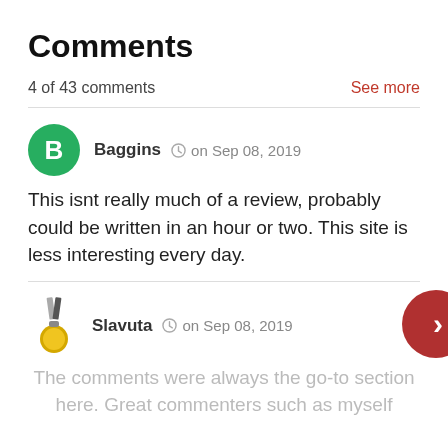Comments
4 of 43 comments
See more
Baggins   on Sep 08, 2019
This isnt really much of a review, probably could be written in an hour or two. This site is less interesting every day.
Slavuta   on Sep 08, 2019
The comments were always the go-to section here. Great commenters such as myself